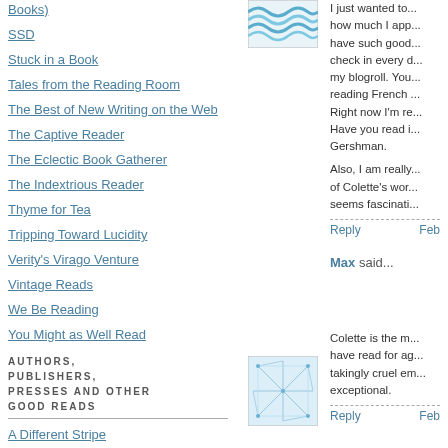Books)
SSD
Stuck in a Book
Tales from the Reading Room
The Best of New Writing on the Web
The Captive Reader
The Eclectic Book Gatherer
The Indextrious Reader
Thyme for Tea
Tripping Toward Lucidity
Verity's Virago Venture
Vintage Reads
We Be Reading
You Might as Well Read
AUTHORS, PUBLISHERS, PRESSES AND OTHER GOOD READS
A Different Stripe
Bloggers!
[Figure (illustration): Wavy blue pattern image, thumbnail avatar]
I just wanted to... how much I app... have such good... check in every d... my blogroll. You... reading French... Right now I'm re... Have you read i... Gershman.
Also, I am really... of Colette's wor... seems fascinati...
Reply   Feb
[Figure (illustration): Abstract network/web pattern image, thumbnail avatar]
Max said...
Colette is the m... have read for ag... takingly cruel em... exceptional.
Reply   Feb